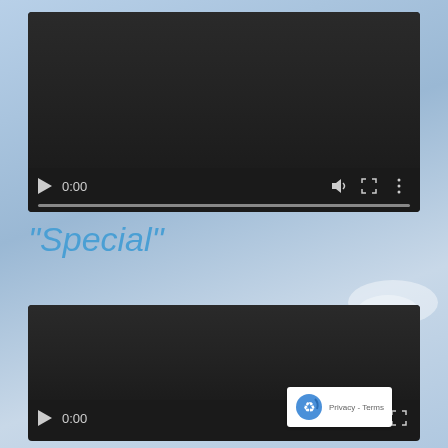[Figure (screenshot): Video player 1 - dark/black video area with playback controls showing play button, 0:00 timecode, volume icon, fullscreen icon, more options icon, and a progress bar at bottom]
“Special”
[Figure (screenshot): Video player 2 - dark/black video area with playback controls showing play button, 0:00 timecode, volume icon, fullscreen icon, and a reCAPTCHA badge overlay in the bottom right corner]